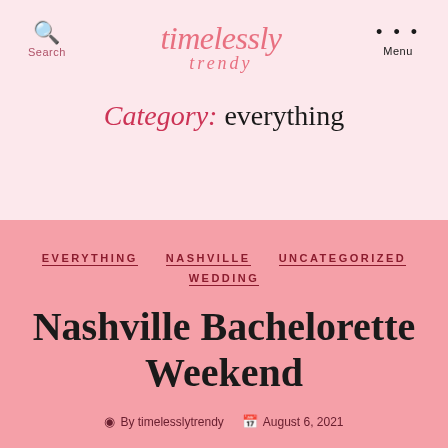timelessly trendy — Search / Menu
Category: everything
EVERYTHING   NASHVILLE   UNCATEGORIZED   WEDDING
Nashville Bachelorette Weekend
By timelesslytrendy   August 6, 2021